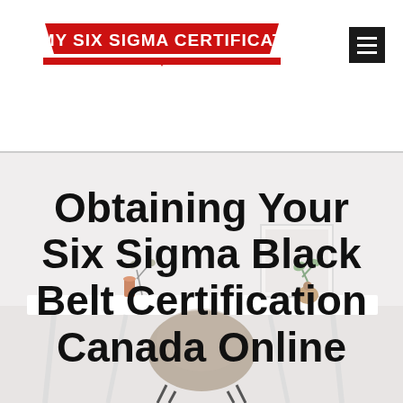[Figure (logo): Do My Six Sigma Certification logo — red trapezoid banner with white and red text on white background]
[Figure (photo): Minimalist white desk with a tan chair, small decorative plant, vase, and framed picture in the background — light grey/white tones]
Obtaining Your Six Sigma Black Belt Certification Canada Online